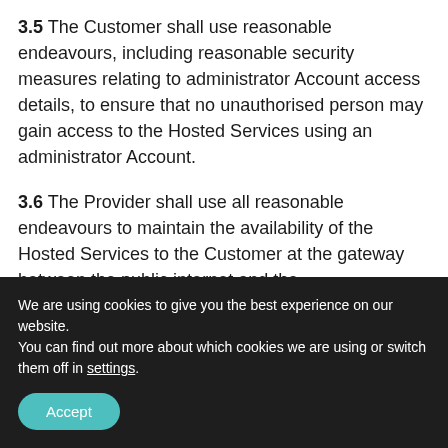3.5 The Customer shall use reasonable endeavours, including reasonable security measures relating to administrator Account access details, to ensure that no unauthorised person may gain access to the Hosted Services using an administrator Account.
3.6 The Provider shall use all reasonable endeavours to maintain the availability of the Hosted Services to the Customer at the gateway between the public internet and the
We are using cookies to give you the best experience on our website.
You can find out more about which cookies we are using or switch them off in settings.
Accept